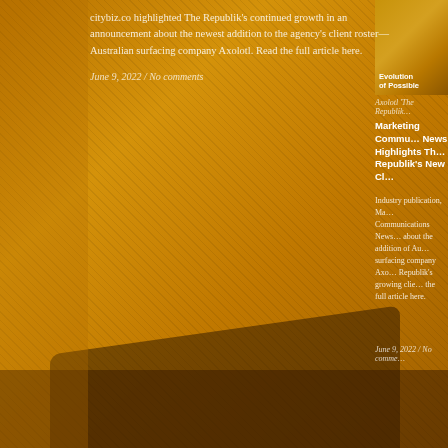[Figure (photo): Top right image with text overlay reading 'Evolution of Possible' on orange/amber background]
citybiz.co highlighted The Republik's continued growth in an announcement about the newest addition to the agency's client roster—Australian surfacing company Axolotl. Read the full article here.
June 9, 2022 / No comments
Axolotl 'The Republik…
Marketing Commu… News Highlights Th… Republik's New Cl…
Industry publication, Ma… Communications News… about the addition of Au… surfacing company Axo… Republik's growing clie… the full article here.
June 9, 2022 / No comme…